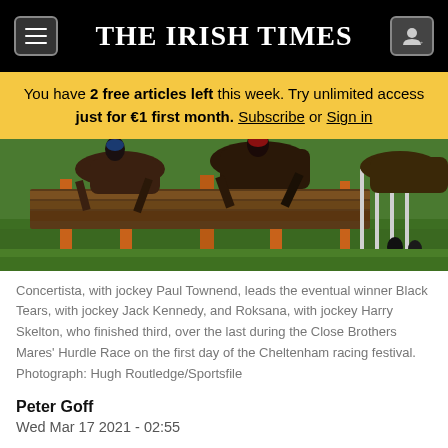THE IRISH TIMES
You have 2 free articles left this week. Try unlimited access just for €1 first month. Subscribe or Sign in
[Figure (photo): Horse racing scene showing horses jumping over a hurdle fence during the Close Brothers Mares' Hurdle Race at Cheltenham.]
Concertista, with jockey Paul Townend, leads the eventual winner Black Tears, with jockey Jack Kennedy, and Roksana, with jockey Harry Skelton, who finished third, over the last during the Close Brothers Mares' Hurdle Race on the first day of the Cheltenham racing festival. Photograph: Hugh Routledge/Sportsfile
Peter Goff
Wed Mar 17 2021 - 02:55